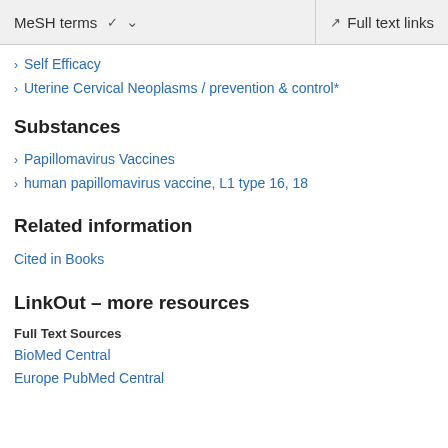MeSH terms  ∨    Full text links
Self Efficacy
Uterine Cervical Neoplasms / prevention & control*
Substances
Papillomavirus Vaccines
human papillomavirus vaccine, L1 type 16, 18
Related information
Cited in Books
LinkOut – more resources
Full Text Sources
BioMed Central
Europe PubMed Central